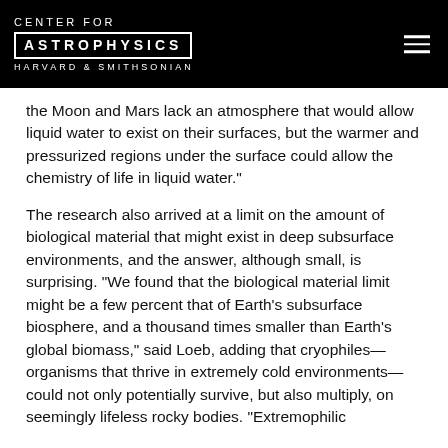CENTER FOR ASTROPHYSICS HARVARD & SMITHSONIAN
the Moon and Mars lack an atmosphere that would allow liquid water to exist on their surfaces, but the warmer and pressurized regions under the surface could allow the chemistry of life in liquid water."
The research also arrived at a limit on the amount of biological material that might exist in deep subsurface environments, and the answer, although small, is surprising. "We found that the biological material limit might be a few percent that of Earth's subsurface biosphere, and a thousand times smaller than Earth's global biomass," said Loeb, adding that cryophiles—organisms that thrive in extremely cold environments—could not only potentially survive, but also multiply, on seemingly lifeless rocky bodies. "Extremophilic